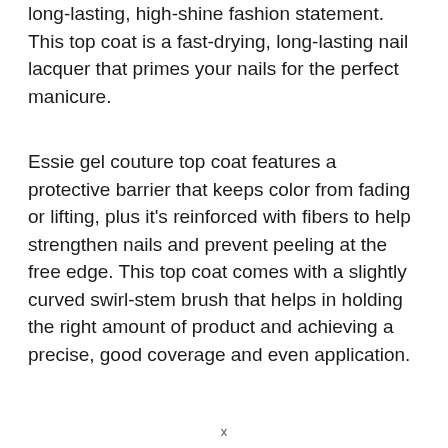long-lasting, high-shine fashion statement. This top coat is a fast-drying, long-lasting nail lacquer that primes your nails for the perfect manicure.
Essie gel couture top coat features a protective barrier that keeps color from fading or lifting, plus it's reinforced with fibers to help strengthen nails and prevent peeling at the free edge. This top coat comes with a slightly curved swirl-stem brush that helps in holding the right amount of product and achieving a precise, good coverage and even application.
x